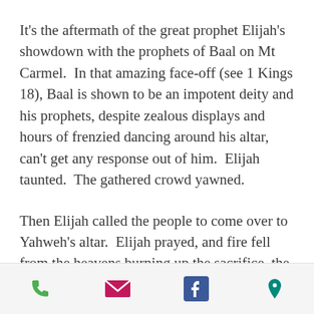It's the aftermath of the great prophet Elijah's showdown with the prophets of Baal on Mt Carmel.  In that amazing face-off (see 1 Kings 18), Baal is shown to be an impotent deity and his prophets, despite zealous displays and hours of frenzied dancing around his altar, can't get any response out of him.  Elijah taunted.  The gathered crowd yawned.
Then Elijah called the people to come over to Yahweh's altar.  Elijah prayed, and fire fell from the heavens burning up the sacrifice, the wood, the stones of the altar, and every trace of the hundreds of water that Elijah had
[Figure (other): Bottom navigation bar with four icons: phone (green), envelope/email (magenta/pink), Facebook (dark blue), and map pin/location (teal/green)]